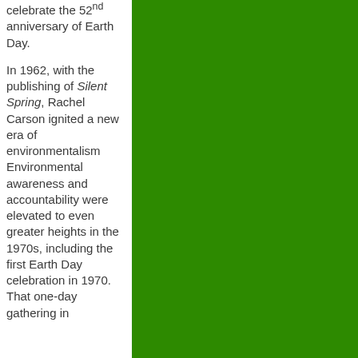celebrate the 52nd anniversary of Earth Day.
In 1962, with the publishing of Silent Spring, Rachel Carson ignited a new era of environmentalism Environmental awareness and accountability were elevated to even greater heights in the 1970s, including the first Earth Day celebration in 1970. That one-day gathering in
[Figure (illustration): Solid green rectangle filling the right portion of the page]